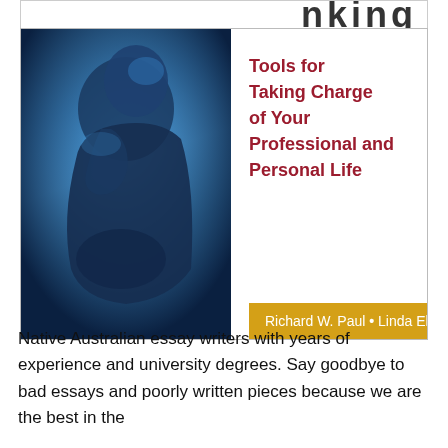Thinking
[Figure (illustration): Book cover showing Rodin's Thinker sculpture in blue tones on the left, with red subtitle text 'Tools for Taking Charge of Your Professional and Personal Life' on the right, and a golden author bar reading 'Richard W. Paul • Linda Elder']
Native Australian essay writers with years of experience and university degrees. Say goodbye to bad essays and poorly written pieces because we are the best in the